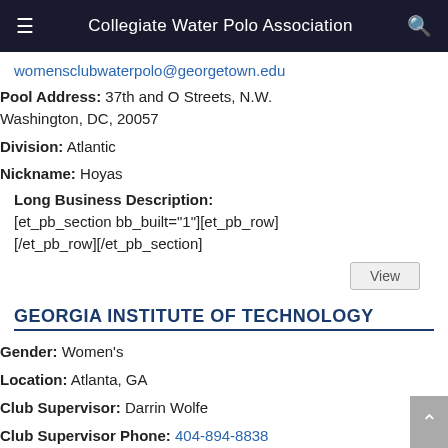Collegiate Water Polo Association
womensclubwaterpolo@georgetown.edu
Pool Address: 37th and O Streets, N.W. Washington, DC, 20057
Division: Atlantic
Nickname: Hoyas
Long Business Description: [et_pb_section bb_built="1"][et_pb_row][/et_pb_row][/et_pb_section]
View
GEORGIA INSTITUTE OF TECHNOLOGY
Gender: Women's
Location: Atlanta, GA
Club Supervisor: Darrin Wolfe
Club Supervisor Phone: 404-894-8838
Club Supervisor Email: darrin.wolfe@crc.gatech.edu